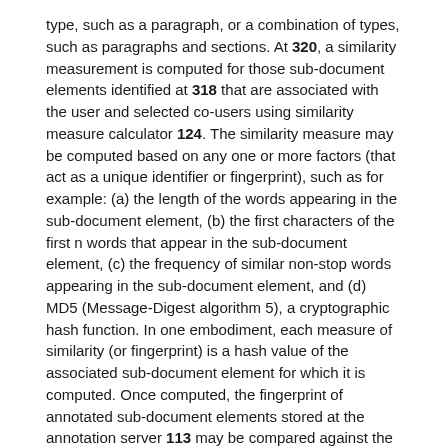type, such as a paragraph, or a combination of types, such as paragraphs and sections. At 320, a similarity measurement is computed for those sub-document elements identified at 318 that are associated with the user and selected co-users using similarity measure calculator 124. The similarity measure may be computed based on any one or more factors (that act as a unique identifier or fingerprint), such as for example: (a) the length of the words appearing in the sub-document element, (b) the first characters of the first n words that appear in the sub-document element, (c) the frequency of similar non-stop words appearing in the sub-document element, and (d) MD5 (Message-Digest algorithm 5), a cryptographic hash function. In one embodiment, each measure of similarity (or fingerprint) is a hash value of the associated sub-document element for which it is computed. Once computed, the fingerprint of annotated sub-document elements stored at the annotation server 113 may be compared against the fingerprint of the sub-document elements of the retrieved web page identified at 318.
At 322, web page sub-document elements (having associated annotations and similarity measures)